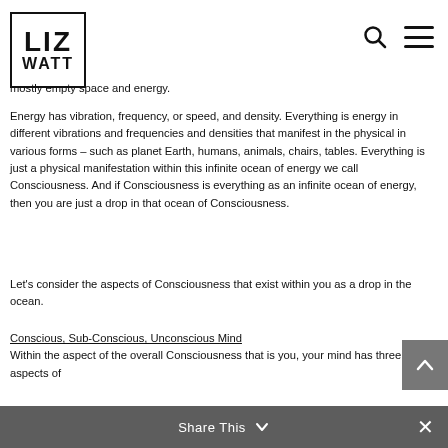LIZ WATT
mostly empty space and energy.
Energy has vibration, frequency, or speed, and density. Everything is energy in different vibrations and frequencies and densities that manifest in the physical in various forms – such as planet Earth, humans, animals, chairs, tables.  Everything is just a physical manifestation within this infinite ocean of energy we call Consciousness. And if Consciousness is everything as an infinite ocean of energy, then you are just a drop in that ocean of Consciousness.
Let's consider the aspects of Consciousness that exist within you as a drop in the ocean.
Conscious, Sub-Conscious, Unconscious Mind
Within the aspect of the overall Consciousness that is you, your mind has three aspects of